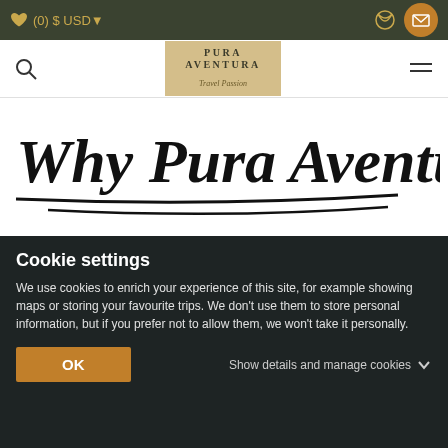♥ (0) $ USD▼
[Figure (logo): Pura Aventura Travel Passion logo on golden/tan background]
Why Pura Aventura?
[Figure (photo): Person with glasses outdoors with green trees and hills in background]
Cookie settings
We use cookies to enrich your experience of this site, for example showing maps or storing your favourite trips. We don't use them to store personal information, but if you prefer not to allow them, we won't take it personally.
OK
Show details and manage cookies